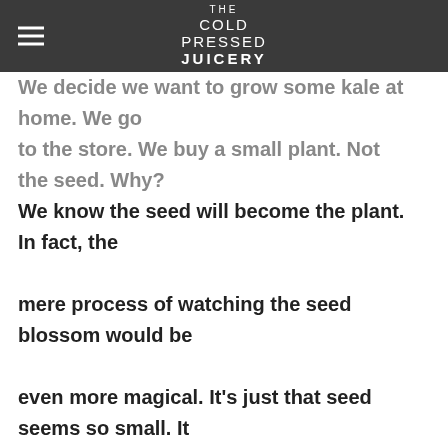THE COLD PRESSED JUICERY
We decide we want to grow some kale at home. We go to the store. We buy a small plant. Not the seed. Why? We know the seed will become the plant. In fact, the mere process of watching the seed blossom would be even more magical. It's just that seed seems so small. It looks like a lot of hard work. It might not even work at all. The plant is a much safer option. More reliable. The plant is probably difficult enough to grow as it is.

And yet how often in life do we opt for the seed? Do we take the gamble on something? Believe in the unseen. Trust in the journey, what we can't control. Have patience. It is the very life process that underpins everything we do. And it is something we all...